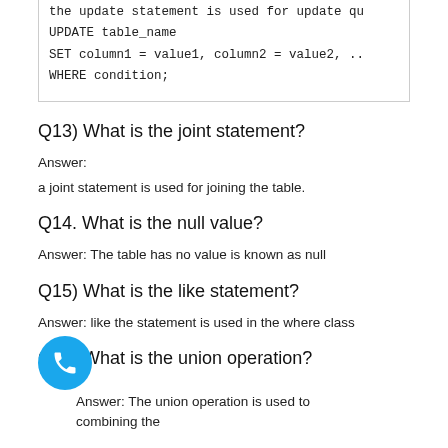UPDATE table_name
SET column1 = value1, column2 = value2, ..
WHERE condition;
Q13) What is the joint statement?
Answer:
a joint statement is used for joining the table.
Q14. What is the null value?
Answer: The table has no value is known as null
Q15) What is the like statement?
Answer: like the statement is used in the where class
Q16) What is the union operation?
Answer: The union operation is used to combining the